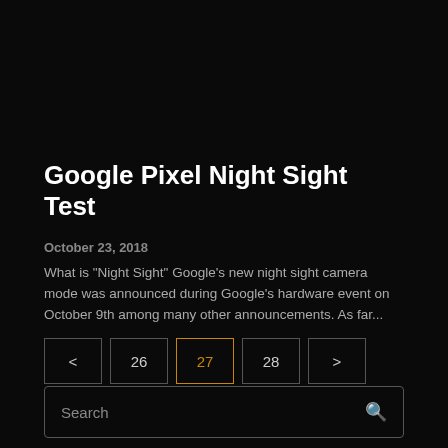Google Pixel Night Sight Test
October 23, 2018
What is "Night Sight" Google's new night sight camera mode was announced during Google's hardware event on October 9th among many other announcements. As far...
< 26 27 28 >
Search